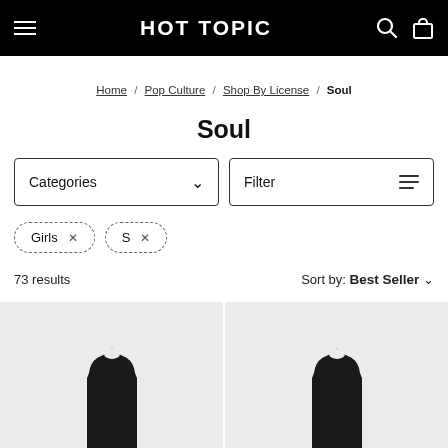HOT TOPIC
Home / Pop Culture / Shop By License / Soul
Soul
Categories ∨
Filter ≡
Girls ×
S ×
73 results    Sort by: Best Seller ∨
[Figure (photo): Black racerback tank top on light gray background]
[Figure (photo): Black racerback tank top on light gray background]